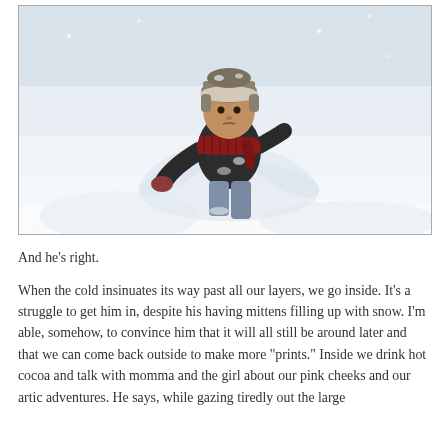[Figure (photo): A young child bundled in a dark winter jacket, red scarf, and fur-trimmed hat, playing in deep snow. The child appears to be making snow angels or walking through heavy snow. The background is all white snow.]
And he's right.
When the cold insinuates its way past all our layers, we go inside. It's a struggle to get him in, despite his having mittens filling up with snow. I'm able, somehow, to convince him that it will all still be around later and that we can come back outside to make more "prints." Inside we drink hot cocoa and talk with momma and the girl about our pink cheeks and our artic adventures. He says, while gazing tiredly out the large